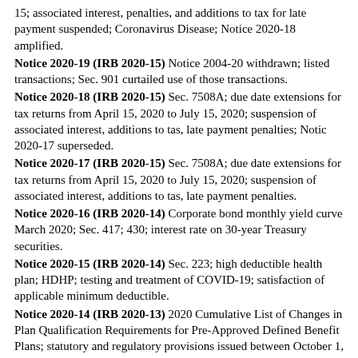15; associated interest, penalties, and additions to tax for late payment suspended; Coronavirus Disease; Notice 2020-18 amplified.
Notice 2020-19 (IRB 2020-15) Notice 2004-20 withdrawn; listed transactions; Sec. 901 curtailed use of those transactions.
Notice 2020-18 (IRB 2020-15) Sec. 7508A; due date extensions for tax returns from April 15, 2020 to July 15, 2020; suspension of associated interest, additions to tas, late payment penalties; Notic 2020-17 superseded.
Notice 2020-17 (IRB 2020-15) Sec. 7508A; due date extensions for tax returns from April 15, 2020 to July 15, 2020; suspension of associated interest, additions to tas, late payment penalties.
Notice 2020-16 (IRB 2020-14) Corporate bond monthly yield curve March 2020; Sec. 417; 430; interest rate on 30-year Treasury securities.
Notice 2020-15 (IRB 2020-14) Sec. 223; high deductible health plan; HDHP; testing and treatment of COVID-19; satisfaction of applicable minimum deductible.
Notice 2020-14 (IRB 2020-13) 2020 Cumulative List of Changes in Plan Qualification Requirements for Pre-Approved Defined Benefit Plans; statutory and regulatory provisions issued between October 1, 2012 and December 31, 2019.
Notice 2020-13 (IRB 2020-11) Sec. 911; exclusion from gross income of foreign housing cost amount.
Notice 2020-12 (IRB 2020-11) Sec. 45Q; beginning of construction for the credit for carbon oxide sequestration; two